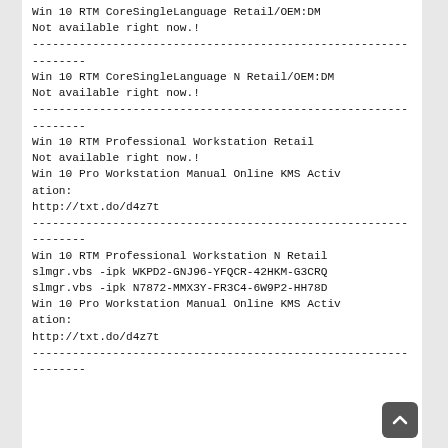Win 10 RTM CoreSingleLanguage Retail/OEM:DM
Not available right now.!
--------------------------------------------------------
--------
Win 10 RTM CoreSingleLanguage N Retail/OEM:DM
Not available right now.!
--------------------------------------------------------
--------
Win 10 RTM Professional Workstation Retail
Not available right now.!
Win 10 Pro Workstation Manual Online KMS Activation:
http://txt.do/d4z7t
--------------------------------------------------------
--------
Win 10 RTM Professional Workstation N Retail
slmgr.vbs -ipk WKPD2-GNJ96-YFQCR-42HKM-G3CRQ
slmgr.vbs -ipk N7872-MMX3Y-FR3C4-6W9P2-HH78D
Win 10 Pro Workstation Manual Online KMS Activation:
http://txt.do/d4z7t
--------------------------------------------------------
--------